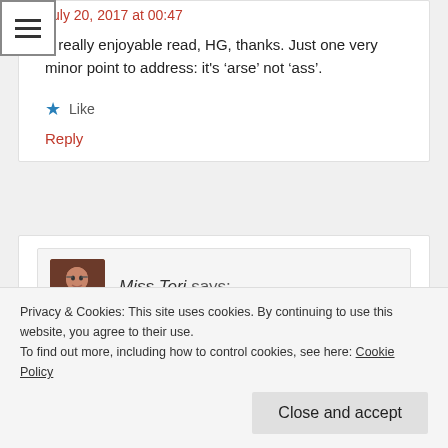[Figure (other): Hamburger menu icon (three horizontal lines) in top-left corner]
July 20, 2017 at 00:47
A really enjoyable read, HG, thanks. Just one very minor point to address: it's ‘arse’ not ‘ass’.
★ Like
Reply
[Figure (photo): Avatar photo of Miss Teri, a woman with glasses]
Miss Teri says:
July 19, 2017 at 23:00
Privacy & Cookies: This site uses cookies. By continuing to use this website, you agree to their use.
To find out more, including how to control cookies, see here: Cookie Policy
Close and accept